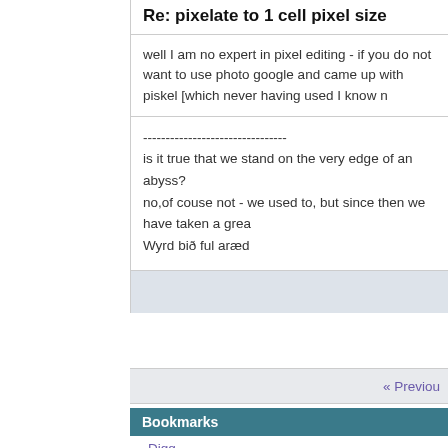Re: pixelate to 1 cell pixel size
well I am no expert in pixel editing - if you do not want to use photo google and came up with piskel [which never having used I know n
--------------------------------
is it true that we stand on the very edge of an abyss?
no,of couse not - we used to, but since then we have taken a grea
Wyrd bið ful aræd
« Previou
Bookmarks
Digg
StumbleUpon
Google
Twitter